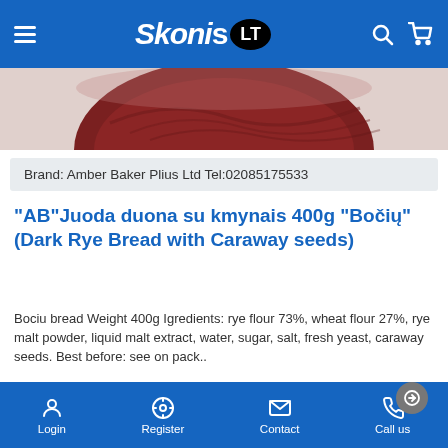SkoniS LT — navigation header with hamburger menu, logo, search and cart icons
[Figure (photo): Partial top view of a dark round rye bread loaf on red-brown surface]
Brand: Amber Baker Plius Ltd Tel:02085175533
"AB"Juoda duona su kmynais 400g "Bočių"(Dark Rye Bread with Caraway seeds)
Bociu bread Weight 400g Igredients: rye flour 73%, wheat flour 27%, rye malt powder, liquid malt extract, water, sugar, salt, fresh yeast, caraway seeds. Best before: see on pack..
£1.49
Ex Tax:£1.49
Login   Register   Contact   Call us